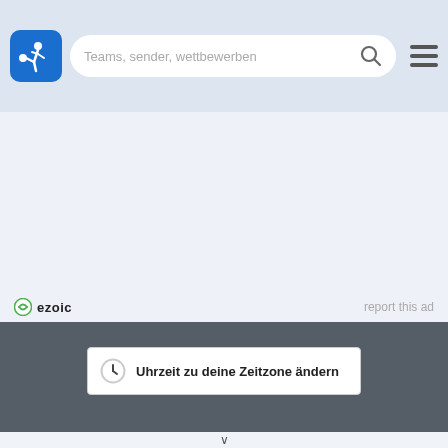[Figure (screenshot): Website header with a soccer player logo (blue rounded square), a search bar reading 'Teams, sender, wettbewerben' with a magnifying glass icon, and a hamburger menu icon on the right.]
[Figure (screenshot): Ezoic ad label with green circle logo and 'ezoic' text, with 'report this ad' link on the right.]
[Figure (screenshot): Dark grey bar with a white popup box showing a clock icon and bold text 'Uhrzeit zu deine Zeitzone ändern'.]